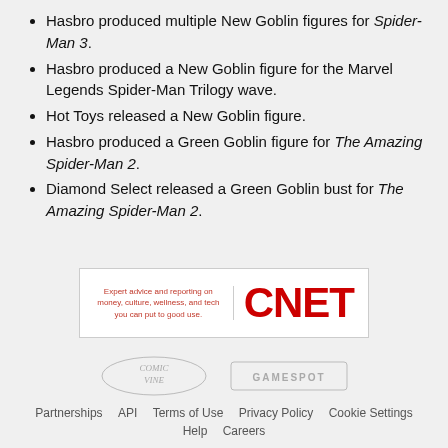Hasbro produced multiple New Goblin figures for Spider-Man 3.
Hasbro produced a New Goblin figure for the Marvel Legends Spider-Man Trilogy wave.
Hot Toys released a New Goblin figure.
Hasbro produced a Green Goblin figure for The Amazing Spider-Man 2.
Diamond Select released a Green Goblin bust for The Amazing Spider-Man 2.
[Figure (logo): CNET logo with tagline: Expert advice and reporting on money, culture, wellness, and tech you can put to good use.]
[Figure (logo): Comic Vine and GameSpot logos]
Partnerships  API  Terms of Use  Privacy Policy  Cookie Settings  Help  Careers